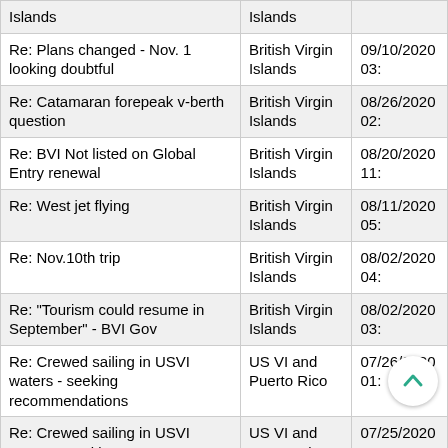| Subject | Destination | Date |
| --- | --- | --- |
| Islands | Islands |  |
| Re: Plans changed - Nov. 1 looking doubtful | British Virgin Islands | 09/10/2020 03: |
| Re: Catamaran forepeak v-berth question | British Virgin Islands | 08/26/2020 02: |
| Re: BVI Not listed on Global Entry renewal | British Virgin Islands | 08/20/2020 11: |
| Re: West jet flying | British Virgin Islands | 08/11/2020 05: |
| Re: Nov.10th trip | British Virgin Islands | 08/02/2020 04: |
| Re: "Tourism could resume in September" - BVI Gov | British Virgin Islands | 08/02/2020 03: |
| Re: Crewed sailing in USVI waters - seeking recommendations | US VI and Puerto Rico | 07/26/2020 01: |
| Re: Crewed sailing in USVI waters - seeking recommendations | US VI and Puerto Rico | 07/25/2020 05: |
| Re: November 2020 BVI Charter | British Virgin Islands | 07/01/2020 11: |
| Re: November 2020 BVI Charter | British Virgin Islands | 07/01/2020 09: |
| (partial) Islands | British Virgin Islands |  |